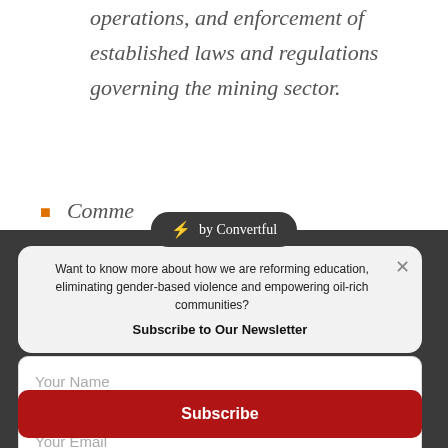the MSMD for more efficient operations, and enforcement of established laws and regulations governing the mining sector.
Comme[rcial progr]ess of
[Figure (other): Convertful badge/overlay button with lightning bolt icon and text 'by Convertful']
Want to know more about how we are reforming education, eliminating gender-based violence and empowering oil-rich communities?
Subscribe to Our Newsletter
Your Name
Your Email
Subscribe